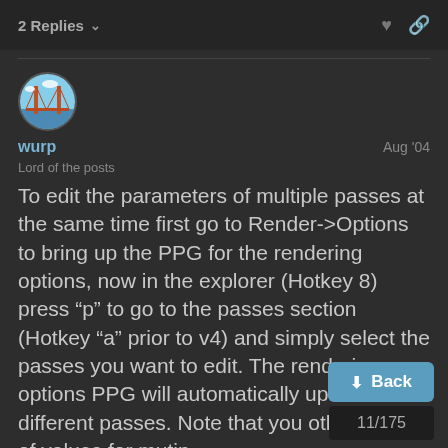2 Replies
wurp
Lord of the posts
Aug '04
To edit the parameters of multiple passes at the same time first go to Render->Options to bring up the PPG for the rendering options, now in the explorer (Hotkey 8) press "p" to go to the passes section (Hotkey "a" prior to v4) and simply select the passes you want to edit. The rendering options PPG will automatically update as the different passes. Note that you other types of values for mutin
11/175